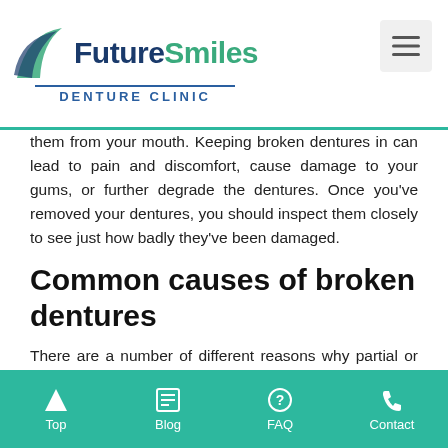FutureSmiles Denture Clinic
them from your mouth. Keeping broken dentures in can lead to pain and discomfort, cause damage to your gums, or further degrade the dentures. Once you've removed your dentures, you should inspect them closely to see just how badly they've been damaged.
Common causes of broken dentures
There are a number of different reasons why partial or complete dentures can become broken. The most common cause though is dropping them. That's why it's crucially important to always handle your dentures with care when
Top | Blog | FAQ | Contact